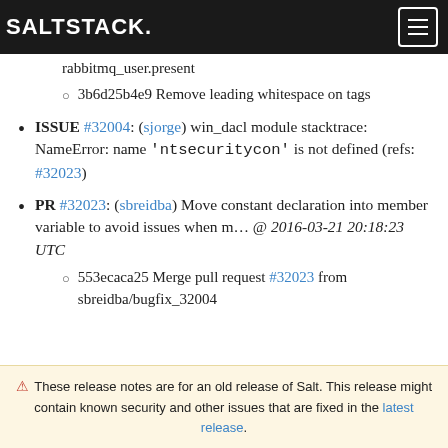SALTSTACK.
rabbitmq_user.present
3b6d25b4e9 Remove leading whitespace on tags
ISSUE #32004: (sjorge) win_dacl module stacktrace: NameError: name 'ntsecuritycon' is not defined (refs: #32023)
PR #32023: (sbreidba) Move constant declaration into member variable to avoid issues when m... @ 2016-03-21 20:18:23 UTC
553ecaca25 Merge pull request #32023 from sbreidba/bugfix_32004
⚠ These release notes are for an old release of Salt. This release might contain known security and other issues that are fixed in the latest release.